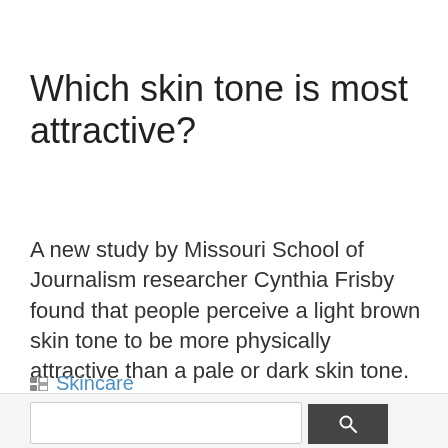Which skin tone is most attractive?
A new study by Missouri School of Journalism researcher Cynthia Frisby found that people perceive a light brown skin tone to be more physically attractive than a pale or dark skin tone.
Skincare